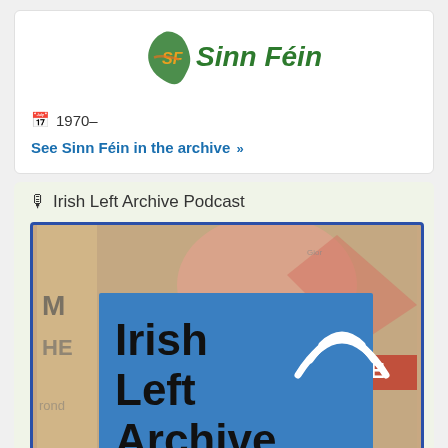[Figure (logo): Sinn Féin logo with SF initials on Ireland map outline and italic green and orange text 'Sinn Féin']
🗓 1970–
See Sinn Féin in the archive »
🎙 Irish Left Archive Podcast
[Figure (screenshot): Irish Left Archive Podcast logo/banner image showing blue box with bold black text 'Irish Left Archive' and white wifi/broadcast icon, overlaid on a collage of newspaper clippings background]